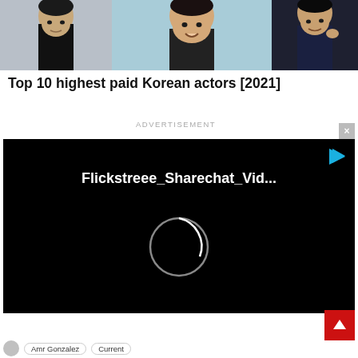[Figure (photo): Three Korean male actors in a photo strip at the top of the page]
Top 10 highest paid Korean actors [2021]
ADVERTISEMENT
[Figure (screenshot): Video player with black background showing 'Flickstreee_Sharechat_Vid...' title and a loading spinner circle]
Amr Gonzalez Current